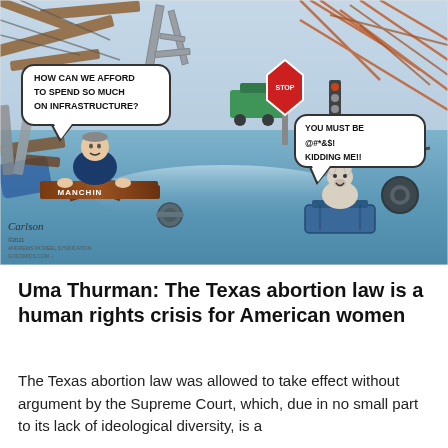[Figure (illustration): Political cartoon showing a flooded scene with debris. A man labeled 'MANCHIN' floats on a wooden raft saying 'HOW CAN WE AFFORD TO SPEND SO MUCH ON INFRASTRUCTURE?' while a donkey (Democratic Party symbol) floats on a suitcase responding 'YOU MUST BE @#*&$! KIDDING ME!!' The scene is filled with destroyed infrastructure including stop signs, traffic lights, collapsed structures. Signed by artist Carlson, 2021.]
Uma Thurman: The Texas abortion law is a human rights crisis for American women
The Texas abortion law was allowed to take effect without argument by the Supreme Court, which, due in no small part to its lack of ideological diversity, is a